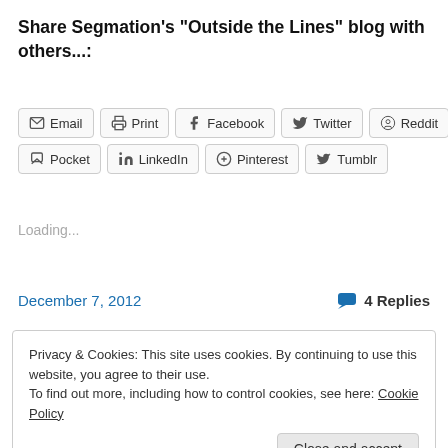Share Segmation's "Outside the Lines" blog with others...:
[Figure (other): Share buttons row 1: Email, Print, Facebook, Twitter, Reddit]
[Figure (other): Share buttons row 2: Pocket, LinkedIn, Pinterest, Tumblr]
Loading...
December 7, 2012   4 Replies
Privacy & Cookies: This site uses cookies. By continuing to use this website, you agree to their use.
To find out more, including how to control cookies, see here: Cookie Policy
Close and accept